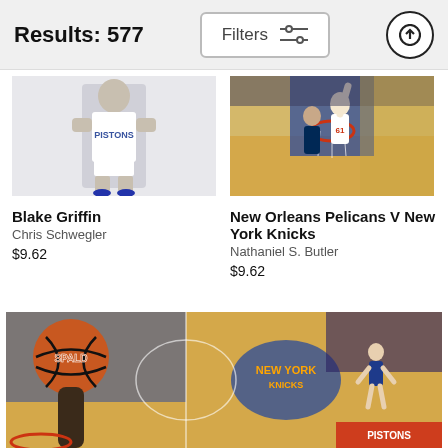Results: 577
Filters
[Figure (photo): Blake Griffin standing in Detroit Pistons uniform with arms crossed, white background]
Blake Griffin
Chris Schwegler
$9.62
[Figure (photo): Basketball game aerial view - New Orleans Pelicans V New York Knicks, player reaching up toward basket]
New Orleans Pelicans V New York Knicks
Nathaniel S. Butler
$9.62
[Figure (photo): Basketball game at Madison Square Garden, close-up of ball being dunked, New York Knicks logo visible on court]